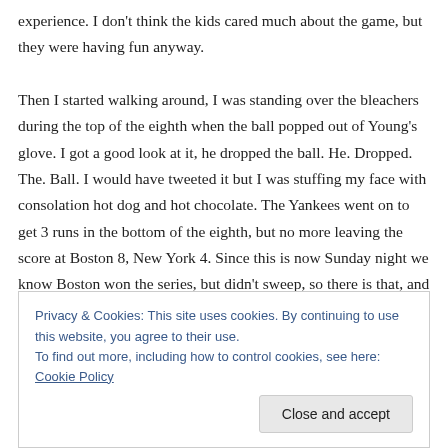experience. I don't think the kids cared much about the game, but they were having fun anyway.

Then I started walking around, I was standing over the bleachers during the top of the eighth when the ball popped out of Young's glove. I got a good look at it, he dropped the ball. He. Dropped. The. Ball. I would have tweeted it but I was stuffing my face with consolation hot dog and hot chocolate. The Yankees went on to get 3 runs in the bottom of the eighth, but no more leaving the score at Boston 8, New York 4. Since this is now Sunday night we know Boston won the series, but didn't sweep, so there is that, and there is still plenty of baseball to play, plus I got to see live
Privacy & Cookies: This site uses cookies. By continuing to use this website, you agree to their use.
To find out more, including how to control cookies, see here: Cookie Policy
Close and accept